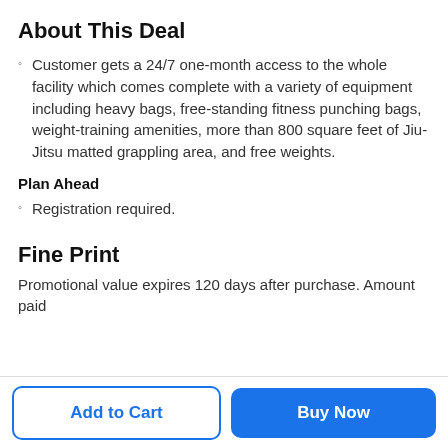About This Deal
Customer gets a 24/7 one-month access to the whole facility which comes complete with a variety of equipment including heavy bags, free-standing fitness punching bags, weight-training amenities, more than 800 square feet of Jiu-Jitsu matted grappling area, and free weights.
Plan Ahead
Registration required.
Fine Print
Promotional value expires 120 days after purchase. Amount paid